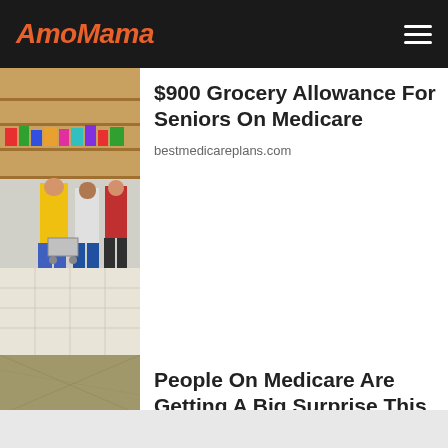AmoMama
$900 Grocery Allowance For Seniors On Medicare
bestmedicareplans.com
[Figure (photo): People shopping in a grocery store, seen from behind]
People On Medicare Are Getting A Big Surprise This Thursday
Everyday Finance
[Figure (photo): Close-up of a printed check or financial document]
[Figure (photo): Close-up of a person's arm or skin, partially visible]